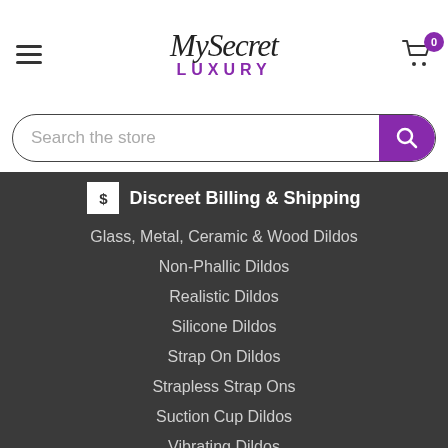MySecret LUXURY
Search the store
Discreet Billing & Shipping
Glass, Metal, Ceramic & Wood Dildos
Non-Phallic Dildos
Realistic Dildos
Silicone Dildos
Strap On Dildos
Strapless Strap Ons
Suction Cup Dildos
Vibrating Dildos
Luxury Vibrators
Beginners